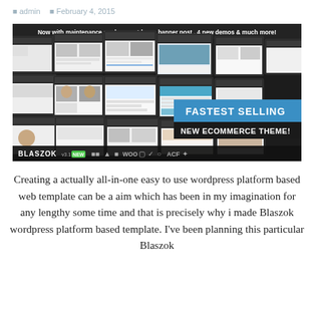admin   February 4, 2015
[Figure (screenshot): Blaszok WordPress ecommerce theme promotional banner showing multiple website layout screenshots arranged in a grid pattern on dark background, with text 'Now with maintenance mode, countdown, banner post, 4 new demos & much more!' at the top, 'FASTEST SELLING' in a blue banner, 'NEW ECOMMERCE THEME!' below, and logos/icons including BLASZOK v3.1 NEW WooCommerce ACF at the bottom.]
Creating a actually all-in-one easy to use wordpress platform based web template can be a aim which has been in my imagination for any lengthy some time and that is precisely why i made Blaszok wordpress platform based template. I've been planning this particular Blaszok